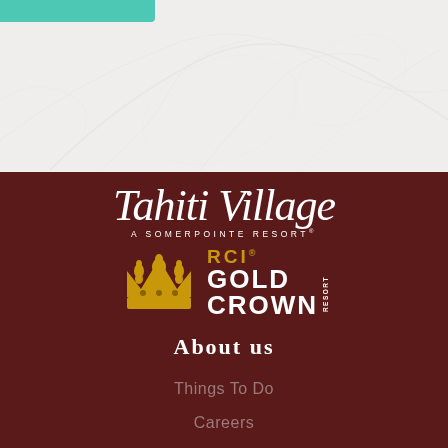[Figure (screenshot): Top section with teal bar and watermark tropical leaf background]
[Figure (logo): Tahiti Village - A Somerpointe Resort logo in white script on dark maroon background]
[Figure (logo): RCI Gold Crown Resort badge with golden crown icon]
About us
Things To Do
Careers
Owner Login